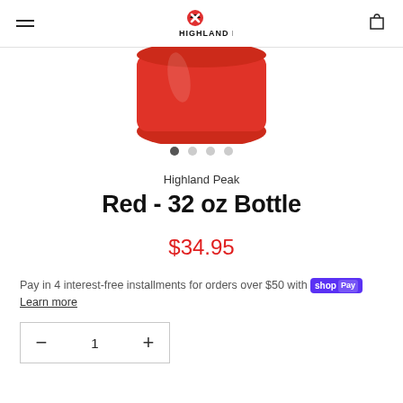Highland Peak
[Figure (photo): Partial view of a red water bottle cap/lid against white background]
• • ○ ○ (image carousel dots, first dot active)
Highland Peak
Red - 32 oz Bottle
$34.95
Pay in 4 interest-free installments for orders over $50 with shopPay Learn more
− 1 +